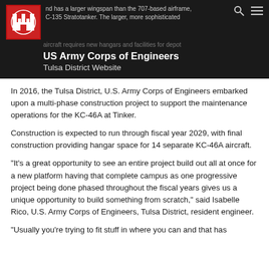US Army Corps of Engineers Tulsa District Website
In 2016, the Tulsa District, U.S. Army Corps of Engineers embarked upon a multi-phase construction project to support the maintenance operations for the KC-46A at Tinker.
Construction is expected to run through fiscal year 2029, with final construction providing hangar space for 14 separate KC-46A aircraft.
"It's a great opportunity to see an entire project build out all at once for a new platform having that complete campus as one progressive project being done phased throughout the fiscal years gives us a unique opportunity to build something from scratch," said Isabelle Rico, U.S. Army Corps of Engineers, Tulsa District, resident engineer.
"Usually you're trying to fit stuff in where you can and that has